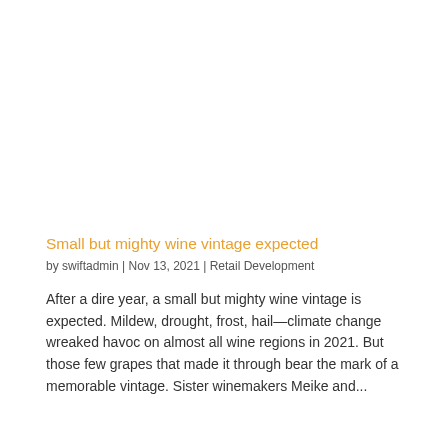Small but mighty wine vintage expected
by swiftadmin | Nov 13, 2021 | Retail Development
After a dire year, a small but mighty wine vintage is expected. Mildew, drought, frost, hail—climate change wreaked havoc on almost all wine regions in 2021. But those few grapes that made it through bear the mark of a memorable vintage. Sister winemakers Meike and...